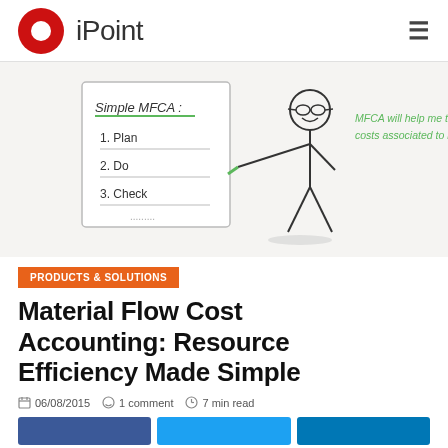iPoint
[Figure (illustration): Hand-drawn style illustration showing a stick figure person with glasses pointing at a list labeled 'Simple MFCA:' with items '1. Plan', '2. Do', '3. Check'. Green handwritten text on the right reads 'MFCA will help me to identify the true costs associated to material losses!']
PRODUCTS & SOLUTIONS
Material Flow Cost Accounting: Resource Efficiency Made Simple
06/08/2015  1 comment  7 min read